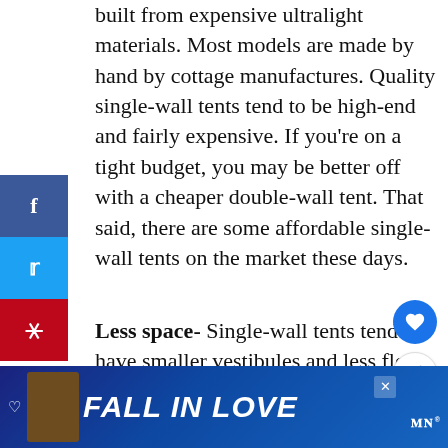built from expensive ultralight materials. Most models are made by hand by cottage manufactures. Quality single-wall tents tend to be high-end and fairly expensive. If you're on a tight budget, you may be better off with a cheaper double-wall tent. That said, there are some affordable single-wall tents on the market these days.
Less space- Single-wall tents tend to have smaller vestibules and less floor space inside. This is because si... tents are designed to be minimalist
[Figure (screenshot): Ad banner at the bottom reading FALL IN LOVE with a dog image and Spotify-like logo]